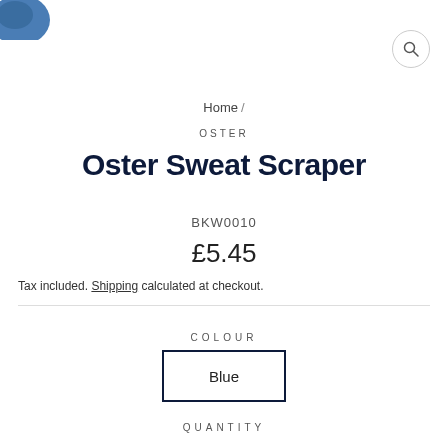[Figure (photo): Partial view of a blue Oster product image in the top-left corner]
Home /
OSTER
Oster Sweat Scraper
BKW0010
£5.45
Tax included. Shipping calculated at checkout.
COLOUR
Blue
QUANTITY